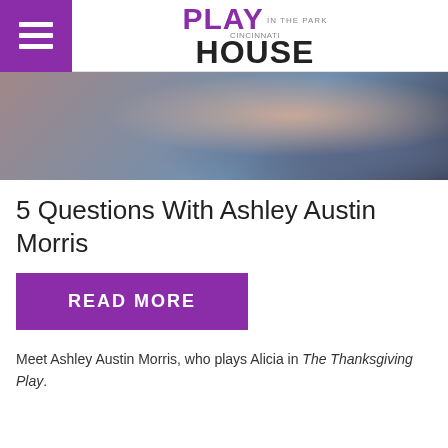Cincinnati Playhouse in the Park
[Figure (photo): Cropped photo of a person wearing jeans and a colorful top, seated, with legs crossed]
5 Questions With Ashley Austin Morris
READ MORE
Meet Ashley Austin Morris, who plays Alicia in The Thanksgiving Play.